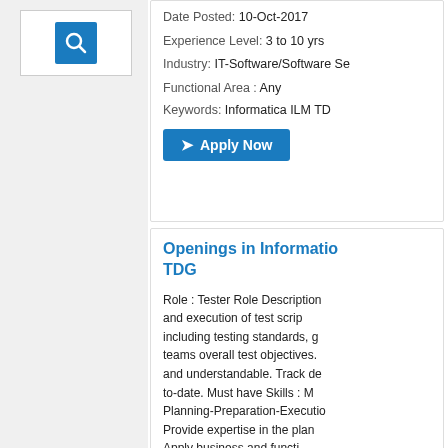[Figure (other): Search icon with magnifying glass on blue background inside a white box on grey panel]
Date Posted: 10-Oct-2017
Experience Level: 3 to 10 yrs
Industry: IT-Software/Software Se...
Functional Area: Any
Keywords: Informatica ILM TD...
Apply Now
Openings in Informatica ILM TDG
Role : Tester Role Description and execution of test scripts including testing standards, g... teams overall test objectives. and understandable. Track de... to-date. Must have Skills : Planning-Preparation-Executio... Provide expertise in the plan Apply business and functi... guidelines and testing th...